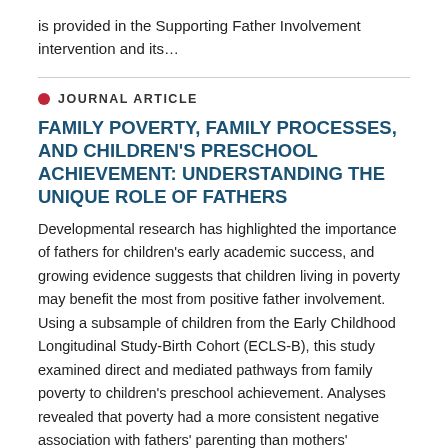is provided in the Supporting Father Involvement intervention and its…
JOURNAL ARTICLE
FAMILY POVERTY, FAMILY PROCESSES, AND CHILDREN'S PRESCHOOL ACHIEVEMENT: UNDERSTANDING THE UNIQUE ROLE OF FATHERS
Developmental research has highlighted the importance of fathers for children's early academic success, and growing evidence suggests that children living in poverty may benefit the most from positive father involvement. Using a subsample of children from the Early Childhood Longitudinal Study-Birth Cohort (ECLS-B), this study examined direct and mediated pathways from family poverty to children's preschool achievement. Analyses revealed that poverty had a more consistent negative association with fathers' parenting than mothers' parenting and fathers' parenting was a more